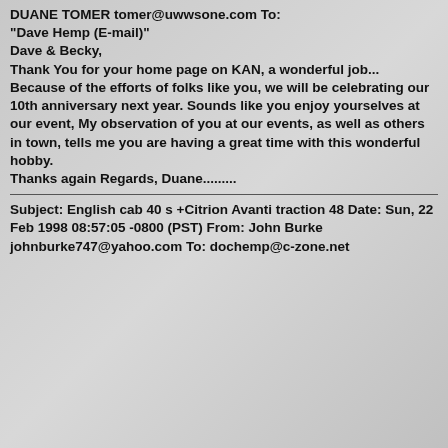DUANE TOMER tomer@uwwsone.com To: "Dave Hemp (E-mail)"
Dave & Becky,
Thank You for your home page on KAN, a wonderful job... Because of the efforts of folks like you, we will be celebrating our 10th anniversary next year. Sounds like you enjoy yourselves at our event, My observation of you at our events, as well as others in town, tells me you are having a great time with this wonderful hobby.
Thanks again Regards, Duane........
Subject: English cab 40 s +Citrion Avanti traction 48 Date: Sun, 22 Feb 1998 08:57:05 -0800 (PST) From: John Burke johnburke747@yahoo.com To: dochemp@c-zone.net